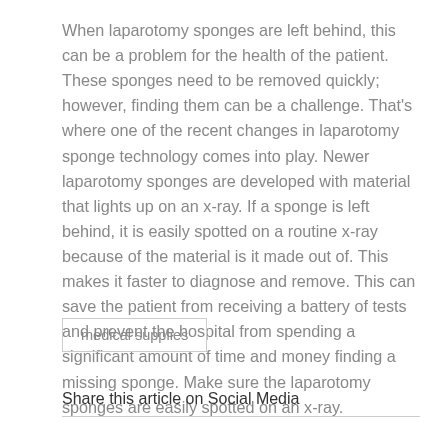When laparotomy sponges are left behind, this can be a problem for the health of the patient. These sponges need to be removed quickly; however, finding them can be a challenge. That's where one of the recent changes in laparotomy sponge technology comes into play. Newer laparotomy sponges are developed with material that lights up on an x-ray. If a sponge is left behind, it is easily spotted on a routine x-ray because of the material is it made out of. This makes it faster to diagnose and remove. This can save the patient from receiving a battery of tests and prevent the hospital from spending a significant amount of time and money finding a missing sponge. Make sure the laparotomy sponges are easily spotted on an x-ray.
medical supplies
Share this article on Social Media